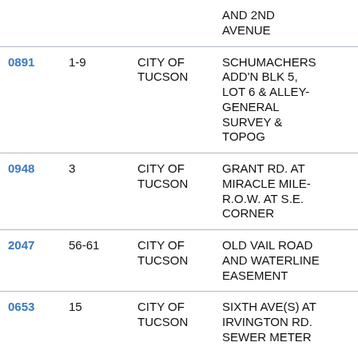| ID | Num | City | Description |
| --- | --- | --- | --- |
|  |  |  | AND 2ND AVENUE |
| 0891 | 1-9 | CITY OF TUCSON | SCHUMACHERS ADD'N BLK 5, LOT 6 & ALLEY- GENERAL SURVEY & TOPOG |
| 0948 | 3 | CITY OF TUCSON | GRANT RD. AT MIRACLE MILE- R.O.W. AT S.E. CORNER |
| 2047 | 56-61 | CITY OF TUCSON | OLD VAIL ROAD AND WATERLINE EASEMENT |
| 0653 | 15 | CITY OF TUCSON | SIXTH AVE(S) AT IRVINGTON RD. SEWER METER |